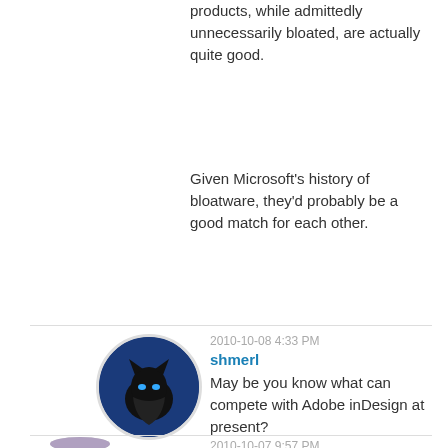products, while admittedly unnecessarily bloated, are actually quite good.
Given Microsoft's history of bloatware, they'd probably be a good match for each other.
2010-10-08 4:33 PM
shmerl
May be you know what can compete with Adobe inDesign at present?
2010-10-07 9:57 PM